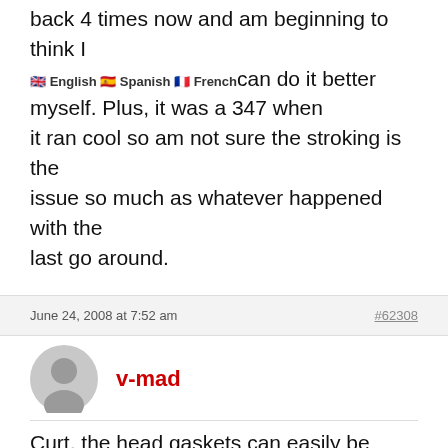back 4 times now and am beginning to think I can do it better myself. Plus, it was a 347 when it ran cool so am not sure the stroking is the issue so much as whatever happened with the last go around.
June 24, 2008 at 7:52 am
#62308
v-mad
Curt, the head gaskets can easily be reversed which blocks some cooling holes, but this usually only causes local overheating on one cylinder. A few things to try: